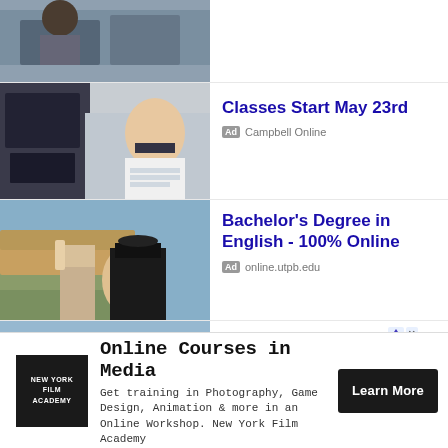[Figure (photo): Partial top image of people at a computer]
[Figure (photo): Young Asian man in business attire smiling at desk with computer]
Classes Start May 23rd
Ad  Campbell Online
[Figure (photo): Female graduate in cap and gown holding diploma outdoors in front of a university building]
Bachelor's Degree in English - 100% Online
Ad  online.utpb.edu
[Figure (photo): Graduation caps being tossed in the air in front of a white building]
Hanover Price Promise
Ad  Hanover College
[Figure (logo): New York Film Academy logo - white text on black square]
Online Courses in Media
Get training in Photography, Game Design, Animation & more in an Online Workshop. New York Film Academy